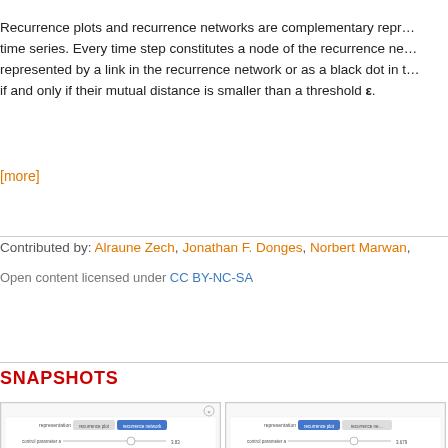Recurrence plots and recurrence networks are complementary representations of time series. Every time step constitutes a node of the recurrence network and is represented by a link in the recurrence network or as a black dot in the recurrence plot if and only if their mutual distance is smaller than a threshold ε.
[more]
Contributed by: Alraune Zech, Jonathan F. Donges, Norbert Marwan,
Open content licensed under CC BY-NC-SA
SNAPSHOTS
[Figure (screenshot): Snapshot of recurrence network interactive demo showing time series with control parameters: representation=recurrence network, control parameter a=3.83, recurrence threshold ε=0.05, and a Time Series chart.]
[Figure (screenshot): Snapshot of recurrence plot interactive demo showing time series with control parameters: representation=recurrence plot selected, control parameter a=3.679, recurrence threshold ε=0.05, and a Time Series chart.]